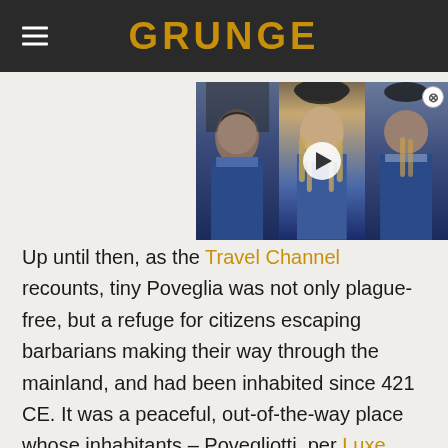GRUNGE
[Figure (screenshot): Video widget showing football players in blue uniforms with a play button overlay, and a close (X) button in the top right corner.]
Up until then, as the Travel Channel recounts, tiny Poveglia was not only plague-free, but a refuge for citizens escaping barbarians making their way through the mainland, and had been inhabited since 421 CE. It was a peaceful, out-of-the-way place whose inhabitants – Povegliotti, per Luxe Adventure Traveler – more or less